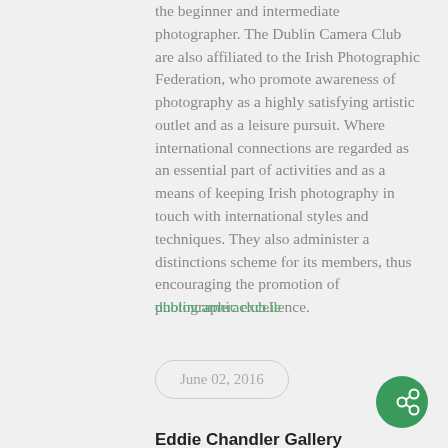the beginner and intermediate photographer. The Dublin Camera Club are also affiliated to the Irish Photographic Federation, who promote awareness of photography as a highly satisfying artistic outlet and as a leisure pursuit. Where international connections are regarded as an essential part of activities and as a means of keeping Irish photography in touch with international styles and techniques. They also administer a distinctions scheme for its members, thus encouraging the promotion of photographic excellence.
dublincameraclub.ie
June 02, 2016
Eddie Chandler Gallery
Launch: 7.30pm 5 July
Running: 6-30 July